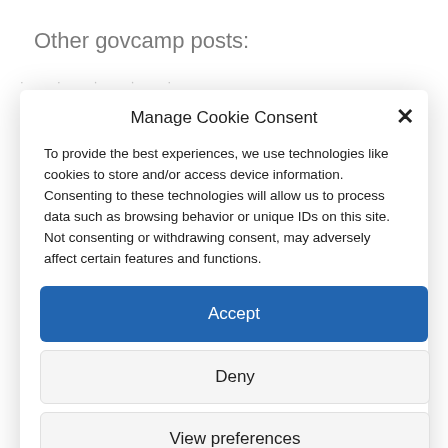Other govcamp posts:
· · · · ·
Manage Cookie Consent
To provide the best experiences, we use technologies like cookies to store and/or access device information. Consenting to these technologies will allow us to process data such as browsing behavior or unique IDs on this site. Not consenting or withdrawing consent, may adversely affect certain features and functions.
Accept
Deny
View preferences
Cookie Policy  Privacy Policy